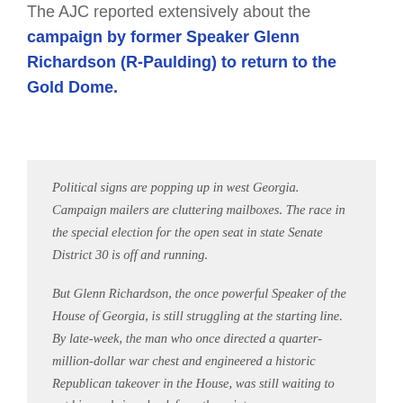The AJC reported extensively about the campaign by former Speaker Glenn Richardson (R-Paulding) to return to the Gold Dome.
Political signs are popping up in west Georgia. Campaign mailers are cluttering mailboxes. The race in the special election for the open seat in state Senate District 30 is off and running.
But Glenn Richardson, the once powerful Speaker of the House of Georgia, is still struggling at the starting line. By late-week, the man who once directed a quarter-million-dollar war chest and engineered a historic Republican takeover in the House, was still waiting to get his yard signs back from the printer.
There was a reason for the delay. "I had to have the money before I ordered them," the Paulding County